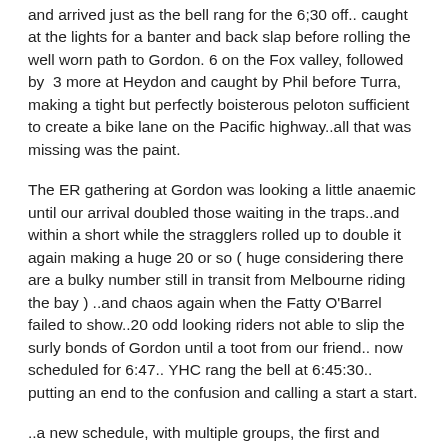and arrived just as the bell rang for the 6;30 off.. caught at the lights for a banter and back slap before rolling the well worn path to Gordon. 6 on the Fox valley, followed by  3 more at Heydon and caught by Phil before Turra, making a tight but perfectly boisterous peloton sufficient to create a bike lane on the Pacific highway..all that was missing was the paint.
The ER gathering at Gordon was looking a little anaemic until our arrival doubled those waiting in the traps..and within a short while the stragglers rolled up to double it again making a huge 20 or so ( huge considering there are a bulky number still in transit from Melbourne riding the bay ) ..and chaos again when the Fatty O'Barrel failed to show..20 odd looking riders not able to slip the surly bonds of Gordon until a toot from our friend.. now scheduled for 6:47.. YHC rang the bell at 6:45:30.. putting an end to the confusion and calling a start a start.
..a new schedule, with multiple groups, the first amended...